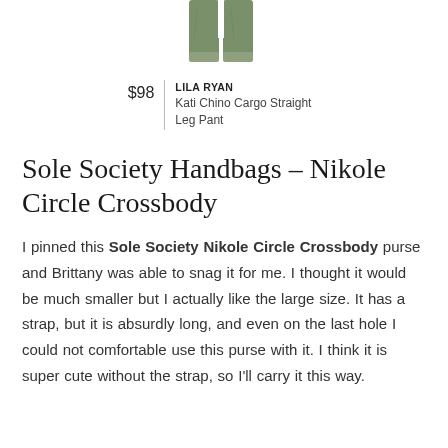[Figure (illustration): Cropped lower portion of olive/green cargo straight leg pants on white background]
| $98 | LILA RYAN
Kati Chino Cargo Straight Leg Pant |
Sole Society Handbags – Nikole Circle Crossbody
I pinned this Sole Society Nikole Circle Crossbody purse and Brittany was able to snag it for me.  I thought it would be much smaller but I actually like the large size.  It has a strap, but it is absurdly long, and even on the last hole I could not comfortable use this purse with it.  I think it is super cute without the strap, so I'll carry it this way.